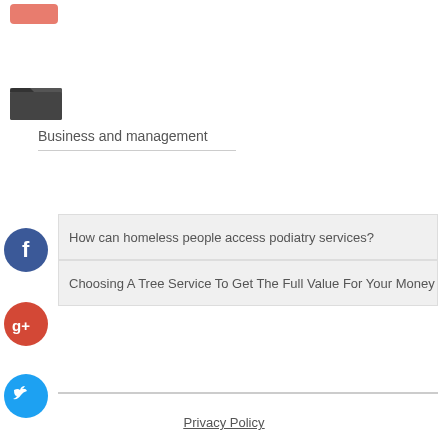[Figure (other): Pink/salmon colored button at top left]
[Figure (other): Open folder icon in dark gray]
Business and management
How can homeless people access podiatry services?
Choosing A Tree Service To Get The Full Value For Your Money
[Figure (other): Facebook social share button - blue circle with f]
[Figure (other): Google+ social share button - red circle with g+]
[Figure (other): Twitter social share button - blue circle with bird]
[Figure (other): Plus/add social share button - dark blue circle with +]
Privacy Policy